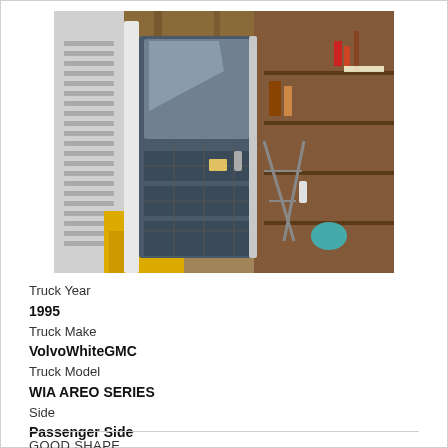[Figure (photo): Photograph of a truck cab door (passenger side) open in a garage/workshop setting. The door has a window and blue interior panel. A white radiator grille is visible on the left. The background shows a workshop with shelving, tools, and equipment.]
Truck Year
1995
Truck Make
VolvoWhiteGMC
Truck Model
WIA AREO SERIES
Side
Passenger Side
GOOD SHAPE